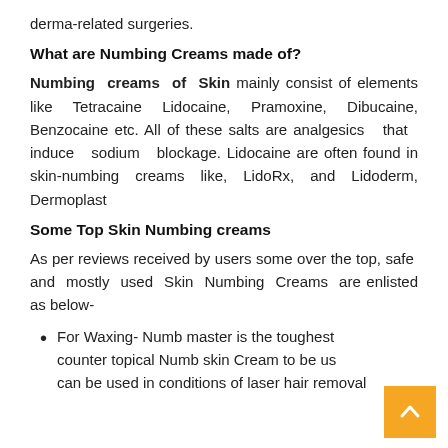derma-related surgeries.
What are Numbing Creams made of?
Numbing creams of Skin mainly consist of elements like Tetracaine Lidocaine, Pramoxine, Dibucaine, Benzocaine etc. All of these salts are analgesics that induce sodium blockage. Lidocaine are often found in skin-numbing creams like, LidoRx, and Lidoderm, Dermoplast
Some Top Skin Numbing creams
As per reviews received by users some over the top, safe and mostly used Skin Numbing Creams are enlisted as below-
For Waxing- Numb master is the toughest counter topical Numb skin Cream to be us… can be used in conditions of laser hair removal